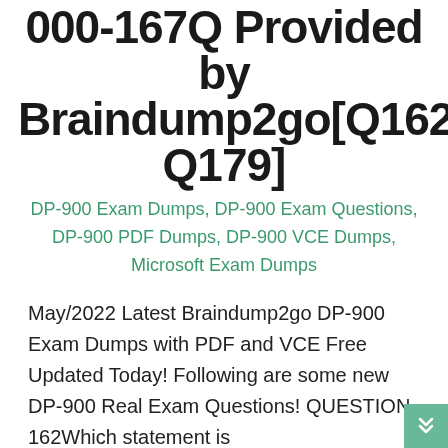000-167Q Provided by Braindump2go[Q162-Q179]
DP-900 Exam Dumps, DP-900 Exam Questions, DP-900 PDF Dumps, DP-900 VCE Dumps, Microsoft Exam Dumps
May/2022 Latest Braindump2go DP-900 Exam Dumps with PDF and VCE Free Updated Today! Following are some new DP-900 Real Exam Questions! QUESTION 162Which statement is
READ MORE